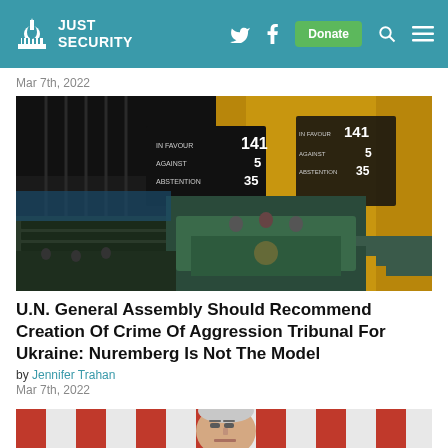Just Security — navigation bar with logo, Twitter, Facebook, Donate, Search, Menu
Mar 7th, 2022
[Figure (photo): UN General Assembly hall showing vote tally boards: IN FAVOUR 141, AGAINST 5, ABSTENTION 35]
U.N. General Assembly Should Recommend Creation Of Crime Of Aggression Tribunal For Ukraine: Nuremberg Is Not The Model
by Jennifer Trahan
Mar 7th, 2022
[Figure (photo): Partial photo showing a person's face against a red and white striped background (appears to be US flag)]